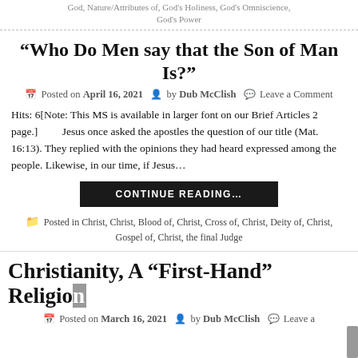God, Nature/Attributes of, God's Holiness, God's Omniscience, God's Power
“Who Do Men say that the Son of Man Is?”
Posted on April 16, 2021  by Dub McClish  Leave a Comment
Hits: 6[Note: This MS is available in larger font on our Brief Articles 2 page.]        Jesus once asked the apostles the question of our title (Mat. 16:13). They replied with the opinions they had heard expressed among the people. Likewise, in our time, if Jesus…
CONTINUE READING…
Posted in Christ, Christ, Blood of, Christ, Cross of, Christ, Deity of, Christ, Gospel of, Christ, the final Judge
Christianity, A “First-Hand” Religion
Posted on March 16, 2021  by Dub McClish  Leave a